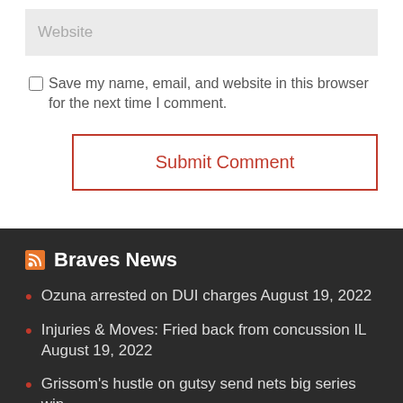Website
Save my name, email, and website in this browser for the next time I comment.
Submit Comment
Braves News
Ozuna arrested on DUI charges August 19, 2022
Injuries & Moves: Fried back from concussion IL August 19, 2022
Grissom's hustle on gutsy send nets big series win